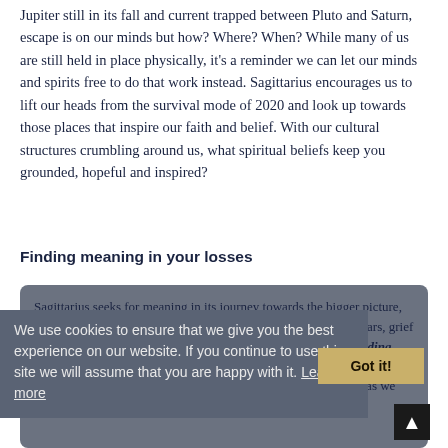Jupiter still in its fall and current trapped between Pluto and Saturn, escape is on our minds but how? Where? When? While many of us are still held in place physically, it's a reminder we can let our minds and spirits free to do that work instead. Sagittarius encourages us to lift our heads from the survival mode of 2020 and look up towards those places that inspire our faith and belief. With our cultural structures crumbling around us, what spiritual beliefs keep you grounded, hopeful and inspired?
Finding meaning in your losses
Sagittarius seeks for meaning in its journey towards the bigger picture, launching fiery arrows into the sky to light the way. In recent years, grief expert David Kessler added a 6th stage to the grief process – finding meaning as a way to bring closure and find peace and hope after experiences of loss. I believe that is the gift of the month ahead as we look at the story of grief
We use cookies to ensure that we give you the best experience on our website. If you continue to use this site we will assume that you are happy with it. Learn more
Got it!